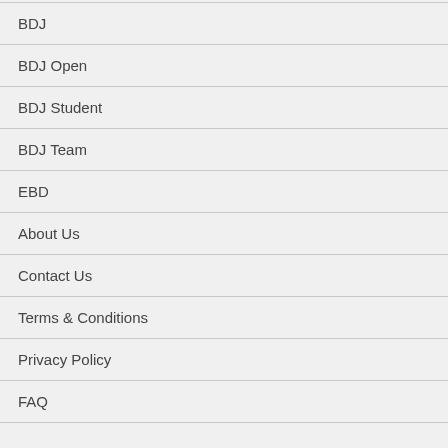BDJ
BDJ Open
BDJ Student
BDJ Team
EBD
About Us
Contact Us
Terms & Conditions
Privacy Policy
FAQ